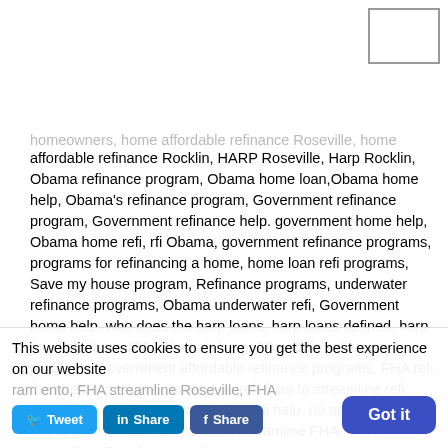homeowners, home affordable refinance Roseville, home affordable refinance Rocklin, HARP Roseville, Harp Rocklin, Obama refinance program, Obama home loan,Obama home help, Obama's refinance program, Government refinance program, Government refinance help. government home help, Obama home refi, rfi Obama, government refinance programs, programs for refinancing a home, home loan refi programs, Save my house program, Refinance programs, underwater refinance programs, Obama underwater refi, Government home help, who does the harp loans, harp loans defined, harp for idiots, harp 101, Obama's harp, Affordable refinance programs, government affordable refinance programs, FHA refi, fha streamline loans, streamline refi, how to streamline refi, streamline FHA loans, Streamline refi help, no appraisal refinance, refi with no appraisal, streamline FHA, HARP streamline, Rocklin streamline, ... FHA streamline Roseville, FHA
This website uses cookies to ensure you get the best experience on our website